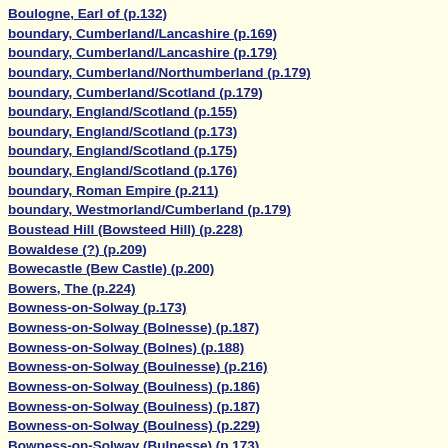Boulogne, Earl of (p.132)
boundary, Cumberland/Lancashire (p.169)
boundary, Cumberland/Lancashire (p.179)
boundary, Cumberland/Northumberland (p.179)
boundary, Cumberland/Scotland (p.179)
boundary, England/Scotland (p.155)
boundary, England/Scotland (p.173)
boundary, England/Scotland (p.175)
boundary, England/Scotland (p.176)
boundary, Roman Empire (p.211)
boundary, Westmorland/Cumberland (p.179)
Boustead Hill (Bowsteed Hill) (p.228)
Bowaldese (?) (p.209)
Bowecastle (Bew Castle) (p.200)
Bowers, The (p.224)
Bowness-on-Solway (p.173)
Bowness-on-Solway (Bolnesse) (p.187)
Bowness-on-Solway (Bolnes) (p.188)
Bowness-on-Solway (Boulnesse) (p.216)
Bowness-on-Solway (Boulness) (p.186)
Bowness-on-Solway (Boulness) (p.187)
Bowness-on-Solway (Boulness) (p.229)
Bowness-on-Solway (Bulnesse) (p.173)
Bowness-on-Solway (Bulness) (p.186)
Bowness-on-Solway (Bulness) (p.214)